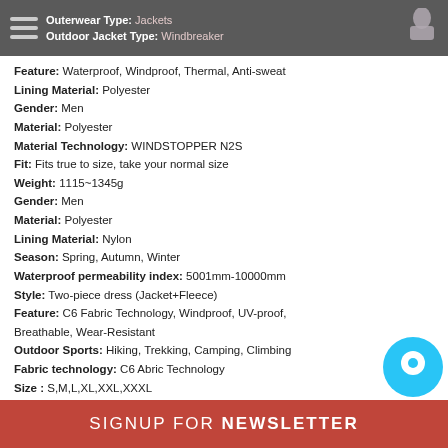Outerwear Type: Jackets | Outdoor Jacket Type: Windbreaker
Feature: Waterproof, Windproof, Thermal, Anti-sweat
Lining Material: Polyester
Gender: Men
Material: Polyester
Material Technology: WINDSTOPPER N2S
Fit: Fits true to size, take your normal size
Weight: 1115~1345g
Gender: Men
Material: Polyester
Lining Material: Nylon
Season: Spring, Autumn, Winter
Waterproof permeability index: 5001mm-10000mm
Style: Two-piece dress (Jacket+Fleece)
Feature: C6 Fabric Technology, Windproof, UV-proof, Breathable, Wear-Resistant
Outdoor Sports: Hiking, Trekking, Camping, Climbing
Fabric technology: C6 Abric Technology
Size: S,M,L,XL,XXL,XXXL
SIGNUP FOR NEWSLETTER